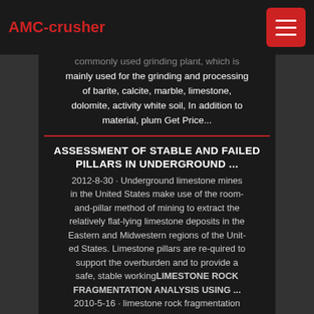AMC-crusher
commonly used grinding plant, which is mainly used for the grinding and processing of barite, calcite, marble, limestone, dolomite, activity white soil, In addition to material, plum Get Price...
ASSESSMENT OF STABLE AND FAILED PILLARS IN UNDERGROUND ...
2012-8-30 · Underground limestone mines in the United States make use of the room-and-pillar method of mining to extract the relatively flat-lying limestone deposits in the Eastern and Midwestern regions of the United States. Limestone pillars are required to support the overburden and to provide a safe, stable workingLIMESTONE ROCK FRAGMENTATION ANALYSIS USING ... 2010-5-16 · limestone rock fragmentation analysis using winfrag a thesis submitted in